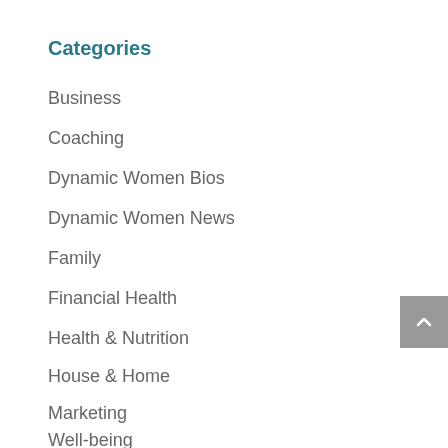Categories
Business
Coaching
Dynamic Women Bios
Dynamic Women News
Family
Financial Health
Health & Nutrition
House & Home
Marketing
Well-being